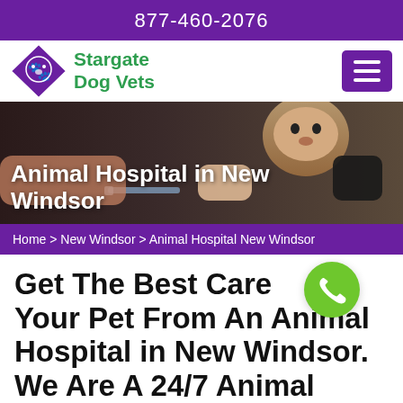877-460-2076
[Figure (logo): Stargate Dog Vets logo with purple diamond shape containing a dog illustration and green text 'Stargate Dog Vets']
[Figure (photo): Veterinarian hands examining a small fluffy dog, with a syringe visible, dark background]
Animal Hospital in New Windsor
Home > New Windsor > Animal Hospital New Windsor
Get The Best Care For Your Pet From An Animal Hospital in New Windsor. We Are A 24/7 Animal Hospital Near